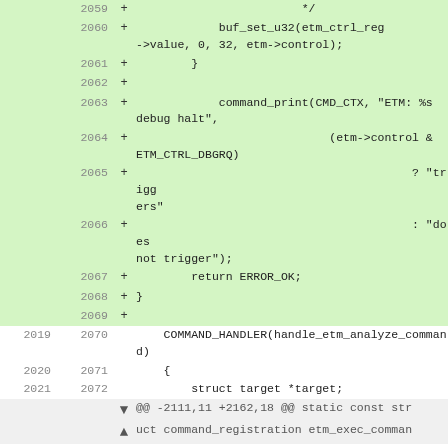[Figure (screenshot): A code diff view showing added lines (green background) for lines 2059-2069 and neutral lines 2019-2021/2070-2072, with metadata rows at the bottom showing @@ -2111,11 +2162,18 @@ static const struct command_registration etm_exec_comman]